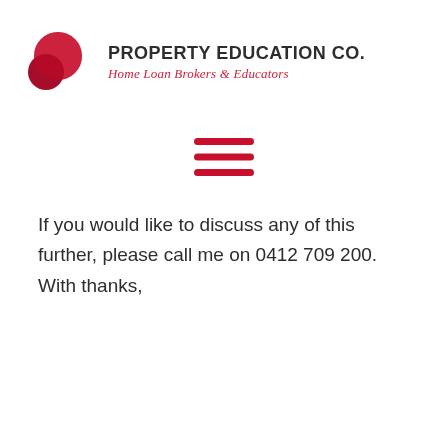[Figure (logo): Property Education Co. logo with two overlapping red circles and company name text]
[Figure (other): Hamburger menu icon — three horizontal red lines]
If you would like to discuss any of this further, please call me on 0412 709 200. With thanks,